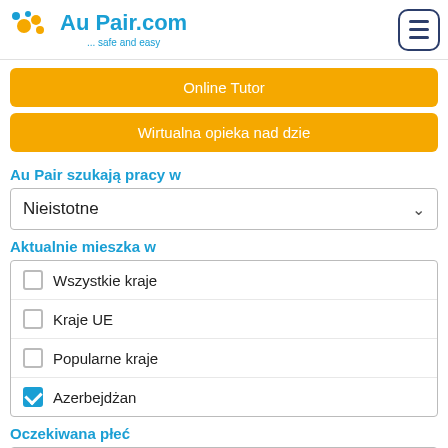AuPair.com ... safe and easy
Online Tutor
Wirtualna opieka nad dzie
Au Pair szukają pracy w
Nieistotne
Aktualnie mieszka w
Wszystkie kraje
Kraje UE
Popularne kraje
Azerbejdżan
Oczekiwana płeć
Kobieta